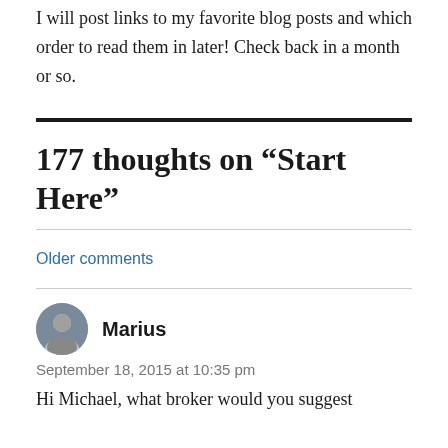I will post links to my favorite blog posts and which order to read them in later! Check back in a month or so.
177 thoughts on “Start Here”
Older comments
Marius
September 18, 2015 at 10:35 pm
Hi Michael, what broker would you suggest